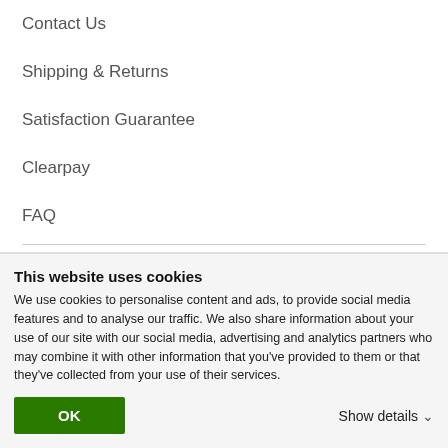Contact Us
Shipping & Returns
Satisfaction Guarantee
Clearpay
FAQ
Quick Links
Blog
Gift Cards
This website uses cookies
We use cookies to personalise content and ads, to provide social media features and to analyse our traffic. We also share information about your use of our site with our social media, advertising and analytics partners who may combine it with other information that you've provided to them or that they've collected from your use of their services.
OK
Show details